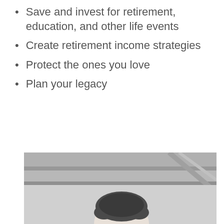Save and invest for retirement, education, and other life events
Create retirement income strategies
Protect the ones you love
Plan your legacy
[Figure (photo): Black and white photo showing the top of a person's head with short hair, seated in what appears to be a staircase or stepped architectural environment with horizontal ledges/railings visible in the background.]